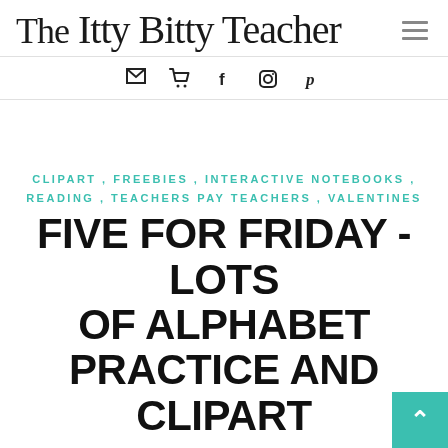The Itty Bitty Teacher
CLIPART , FREEBIES , INTERACTIVE NOTEBOOKS , READING , TEACHERS PAY TEACHERS , VALENTINES
FIVE FOR FRIDAY - LOTS OF ALPHABET PRACTICE AND CLIPART
FRIDAY, JANUARY 16, 2015